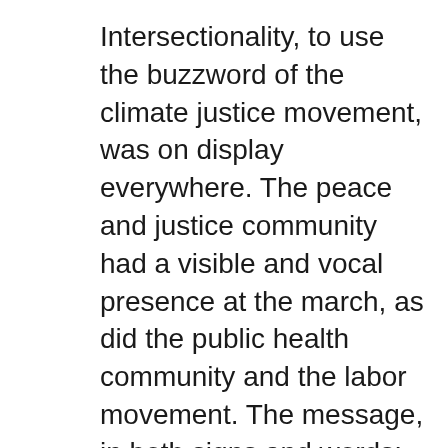Intersectionality, to use the buzzword of the climate justice movement, was on display everywhere. The peace and justice community had a visible and vocal presence at the march, as did the public health community and the labor movement. The message, in both signs and words: replacing fossil fuel dependency with investments in renewable energy serves to de-escalate political conflicts around the globe, prevent chronic diseases linked to toxic exposure and create jobs that don't blow workers up.